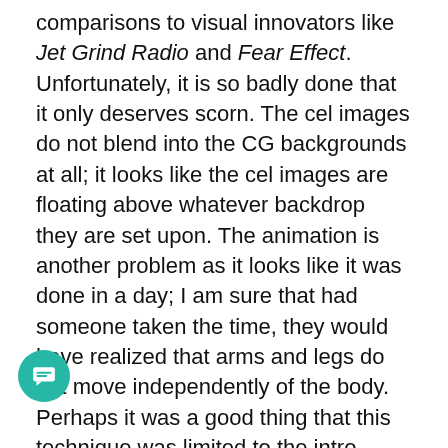comparisons to visual innovators like Jet Grind Radio and Fear Effect. Unfortunately, it is so badly done that it only deserves scorn. The cel images do not blend into the CG backgrounds at all; it looks like the cel images are floating above whatever backdrop they are set upon. The animation is another problem as it looks like it was done in a day; I am sure that had someone taken the time, they would have realized that arms and legs do not move independently of the body. Perhaps it was a good thing that this technique was limited to the intro, although the rest of the game does not fare any better.
The in-game graphics, which would have been considered standard five years ago, are a joke by today's standards. At every turn there are jaggy surfaces, grainy textures, horribly rendered 3D objects and more horrendous animation. h brings me to my point about staying in 2D—these problems could have been avoided had NA.P.S gone the 2D